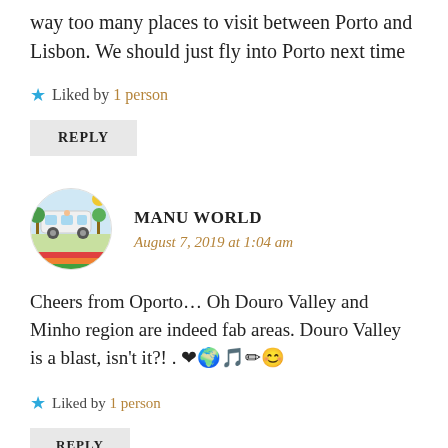way too many places to visit between Porto and Lisbon. We should just fly into Porto next time
★ Liked by 1 person
REPLY
[Figure (illustration): Round avatar image with a colorful cartoon illustration featuring trees, shapes, and bright colors]
MANU WORLD
August 7, 2019 at 1:04 am
Cheers from Oporto… Oh Douro Valley and Minho region are indeed fab areas. Douro Valley is a blast, isn't it?! . ❤🌍🎵✏️😊
★ Liked by 1 person
REPLY